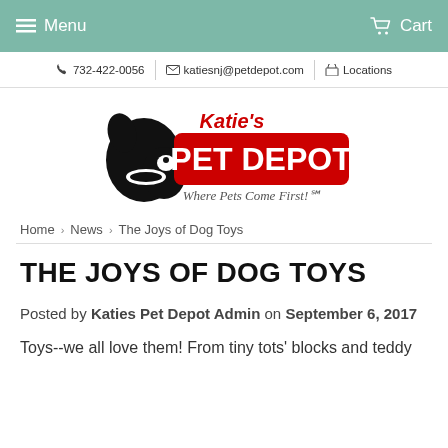Menu  Cart
732-422-0056 | katiesnj@petdepot.com | Locations
[Figure (logo): Katie's Pet Depot logo with dog silhouette and tagline 'Where Pets Come First!']
Home > News > The Joys of Dog Toys
THE JOYS OF DOG TOYS
Posted by Katies Pet Depot Admin on September 6, 2017
Toys--we all love them! From tiny tots' blocks and teddy